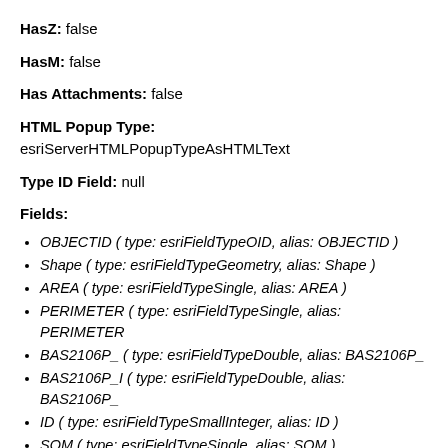HasZ: false
HasM: false
Has Attachments: false
HTML Popup Type: esriServerHTMLPopupTypeAsHTMLText
Type ID Field: null
Fields:
OBJECTID ( type: esriFieldTypeOID, alias: OBJECTID )
Shape ( type: esriFieldTypeGeometry, alias: Shape )
AREA ( type: esriFieldTypeSingle, alias: AREA )
PERIMETER ( type: esriFieldTypeSingle, alias: PERIMETER
BAS2106P_ ( type: esriFieldTypeDouble, alias: BAS2106P_
BAS2106P_I ( type: esriFieldTypeDouble, alias: BAS2106P_
ID ( type: esriFieldTypeSmallInteger, alias: ID )
SQM ( type: esriFieldTypeSingle, alias: SQM )
PT2106_ ( type: esriFieldTypeDouble, alias: PT2106_ )
PT2106_ID ( type: esriFieldTypeDouble, alias: PT2106_ID )
COM_ID ( type: esriFieldTypeDouble, alias: COM_ID )
RCH_CODE ( type: esriFieldTypeString, alias: RCH_CODE,